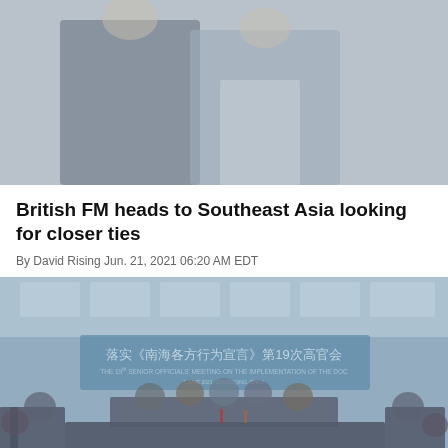[Figure (photo): Two men in suits standing close together, upper bodies visible, muted/faded color tone]
British FM heads to Southeast Asia looking for closer ties
By David Rising Jun. 21, 2021 06:20 AM EDT
[Figure (photo): Conference room meeting with delegates seated around a U-shaped table, wearing masks. A banner reads: 落实《南海各方行为宣言》第19次高官会 / THE 19th SENIOR OFFICIALS' MEETING ON THE IMPLEMENTATION OF THE DOC, 7 JUNE 2021 CHONGQING, CHINA]